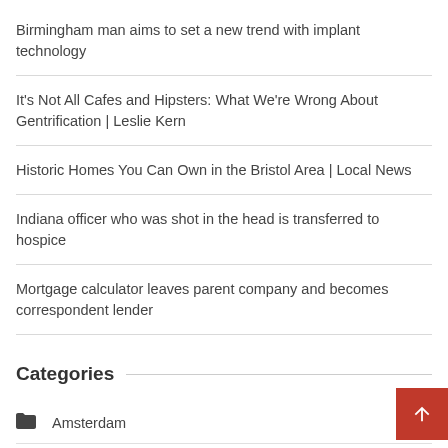Birmingham man aims to set a new trend with implant technology
It's Not All Cafes and Hipsters: What We're Wrong About Gentrification | Leslie Kern
Historic Homes You Can Own in the Bristol Area | Local News
Indiana officer who was shot in the head is transferred to hospice
Mortgage calculator leaves parent company and becomes correspondent lender
Categories
Amsterdam
Bangkok
Barcelona